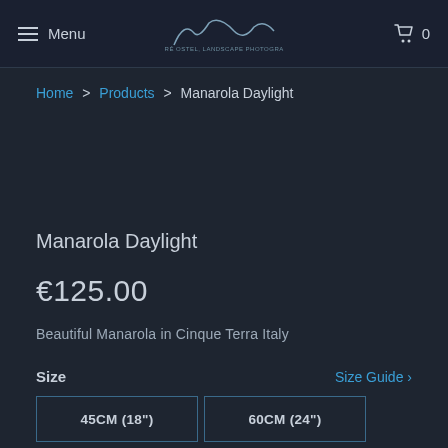Menu | [Logo: André Ostel, Landscape Photography] | 0
Home > Products > Manarola Daylight
Manarola Daylight
€125.00
Beautiful Manarola in Cinque Terra Italy
Size   Size Guide >
45CM (18")
60CM (24")
75CM (30")
90CM (36")